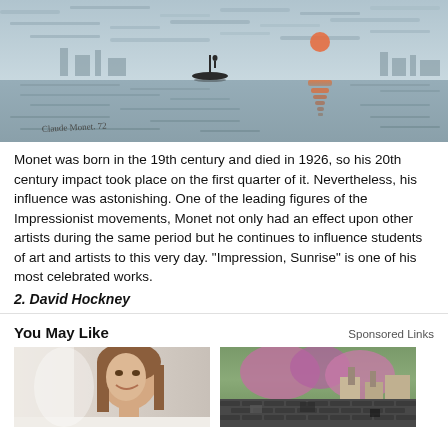[Figure (photo): Monet's Impression Sunrise painting showing a misty harbor scene with a small boat, orange sun reflection on water, and industrial silhouettes in the background. Monet's signature visible in lower left.]
Monet was born in the 19th century and died in 1926, so his 20th century impact took place on the first quarter of it. Nevertheless, his influence was astonishing. One of the leading figures of the Impressionist movements, Monet not only had an effect upon other artists during the same period but he continues to influence students of art and artists to this very day. "Impression, Sunrise" is one of his most celebrated works.
2. David Hockney
You May Like
Sponsored Links
[Figure (photo): Smiling young woman with long brown hair against a light gray background]
[Figure (photo): Rooftop of a house with damaged or aging shingles, trees and buildings visible in background]